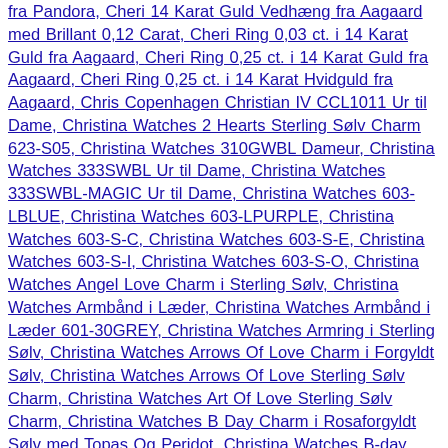fra Pandora, Cheri 14 Karat Guld Vedhæng fra Aagaard med Brillant 0,12 Carat, Cheri Ring 0,03 ct. i 14 Karat Guld fra Aagaard, Cheri Ring 0,25 ct. i 14 Karat Guld fra Aagaard, Cheri Ring 0,25 ct. i 14 Karat Hvidguld fra Aagaard, Chris Copenhagen Christian IV CCL1011 Ur til Dame, Christina Watches 2 Hearts Sterling Sølv Charm 623-S05, Christina Watches 310GWBL Dameur, Christina Watches 333SWBL Ur til Dame, Christina Watches 333SWBL-MAGIC Ur til Dame, Christina Watches 603-LBLUE, Christina Watches 603-LPURPLE, Christina Watches 603-S-C, Christina Watches 603-S-E, Christina Watches 603-S-I, Christina Watches 603-S-O, Christina Watches Angel Love Charm i Sterling Sølv, Christina Watches Armbånd i Læder, Christina Watches Armbånd i Læder 601-30GREY, Christina Watches Armring i Sterling Sølv, Christina Watches Arrows Of Love Charm i Forgyldt Sølv, Christina Watches Arrows Of Love Sterling Sølv Charm, Christina Watches Art Of Love Sterling Sølv Charm, Christina Watches B Day Charm i Rosaforgyldt Sølv med Topas Og Peridot, Christina Watches B-day Sortrhodineret Sølv Charm med Topas Og Peridot, Christina Watches Baby Feet Charm i Forgyldt Sølv, Christina Watches Baby Girl Forgyldt Sølv Charm, Christina Watches Baby Sko Charm i Sterling Sølv, Christina Watches Babysko Charm i Forgyldt Sølv 610-R56, Christina Watches Balance Forgyldt Sølv Charm 630-G93, Christina Watches Be Mine Forever Forgyldt Sølv Charm, Christina Watches Be Mine Forever Sterling Sølv...